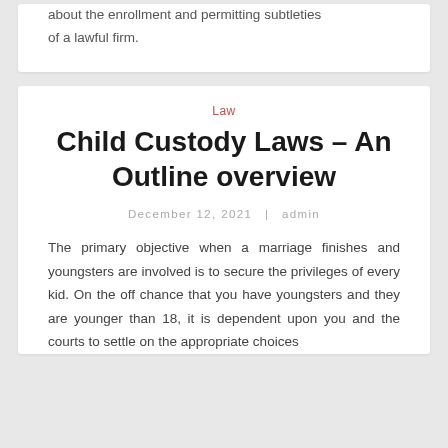about the enrollment and permitting subtleties of a lawful firm.
Law
Child Custody Laws – An Outline overview
December 12, 2021  |  admin
The primary objective when a marriage finishes and youngsters are involved is to secure the privileges of every kid. On the off chance that you have youngsters and they are younger than 18, it is dependent upon you and the courts to settle on the appropriate choices